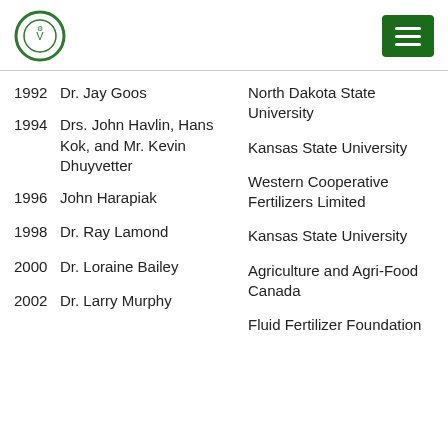[Figure (logo): Circular organization logo with green border]
[Figure (other): Green menu/hamburger button]
1992  Dr. Jay Goos
North Dakota State University
1994  Drs. John Havlin, Hans Kok, and Mr. Kevin Dhuyvetter
Kansas State University
1996  John Harapiak
Western Cooperative Fertilizers Limited
1998  Dr. Ray Lamond
Kansas State University
2000  Dr. Loraine Bailey
Agriculture and Agri-Food Canada
2002  Dr. Larry Murphy
Fluid Fertilizer Foundation